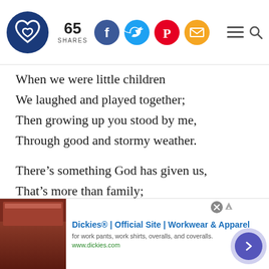65 SHARES — social share bar with Facebook, Twitter, Pinterest, Email icons; hamburger menu and search icons
When we were little children
We laughed and played together;
Then growing up you stood by me,
Through good and stormy weather.

There’s something God has given us,
That’s more than family;
He’s placed a love for you, my Sister,
Deep down in the heart of me.
[Figure (infographic): Advertisement banner: Dickies® | Official Site | Workwear & Apparel — for work pants, work shirts, overalls, and coveralls. www.dickies.com — with product image thumbnail and navigation arrow button]